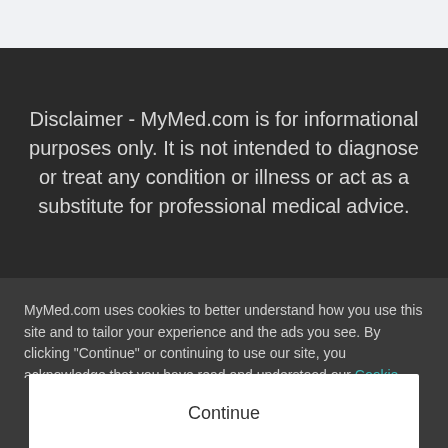Disclaimer - MyMed.com is for informational purposes only. It is not intended to diagnose or treat any condition or illness or act as a substitute for professional medical advice.
MyMed.com uses cookies to better understand how you use this site and to tailor your experience and the ads you see. By clicking "Continue" or continuing to use our site, you acknowledge that you have read and understood our Cookie Policy, Privacy Policy and Terms of Use.
Continue